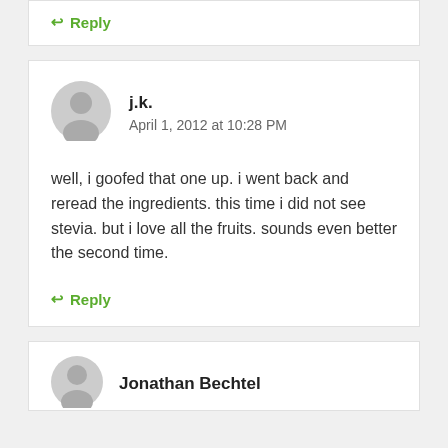↩ Reply
j.k.
April 1, 2012 at 10:28 PM
well, i goofed that one up. i went back and reread the ingredients. this time i did not see stevia. but i love all the fruits. sounds even better the second time.
↩ Reply
Jonathan Bechtel